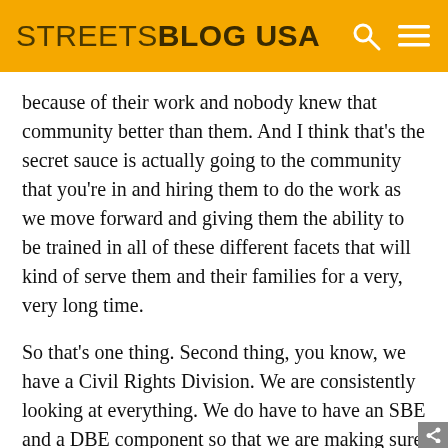STREETSBLOG USA
because of their work and nobody knew that community better than them. And I think that's the secret sauce is actually going to the community that you're in and hiring them to do the work as we move forward and giving them the ability to be trained in all of these different facets that will kind of serve them and their families for a very, very long time.
So that's one thing. Second thing, you know, we have a Civil Rights Division. We are consistently looking at everything. We do have to have an SBE and a DBE component so that we are making sure that our workforce is a very, very diverse. And then the last thing I'm going to say to you is we just had an election and we had eight seats up for election, five brand new